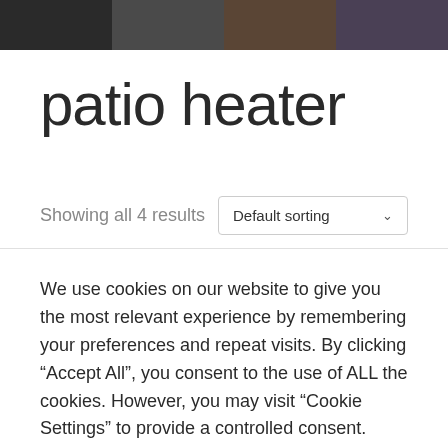[Figure (photo): Header image strip showing darkened product/room photos in four segments]
patio heater
Showing all 4 results
Default sorting
We use cookies on our website to give you the most relevant experience by remembering your preferences and repeat visits. By clicking “Accept All”, you consent to the use of ALL the cookies. However, you may visit "Cookie Settings" to provide a controlled consent.
Cookie Settings
Accept All